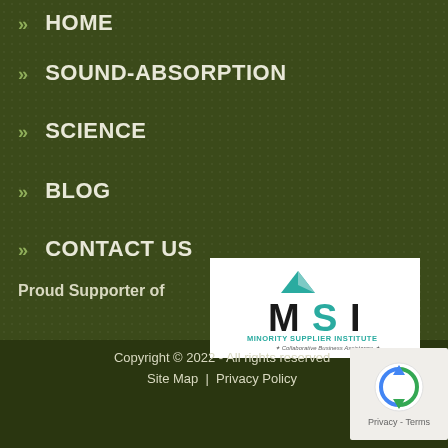» HOME
» SOUND-ABSORPTION
» SCIENCE
» BLOG
» CONTACT US
Proud Supporter of
[Figure (logo): MSI Minority Supplier Institute - Collaborative Business Assistance logo on white background]
Copyright © 2022 - All rights reserved
Site Map | Privacy Policy
[Figure (other): reCAPTCHA Privacy - Terms badge]